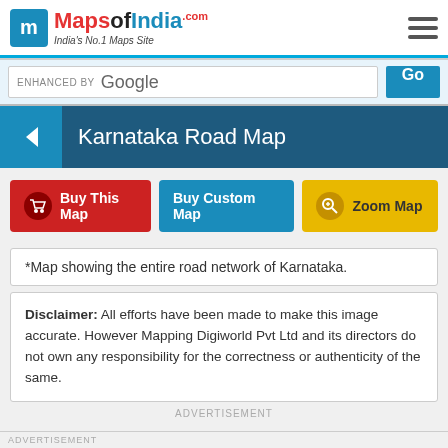[Figure (logo): MapsofIndia.com logo with blue 'm' icon and tagline India's No.1 Maps Site, plus hamburger menu icon]
[Figure (screenshot): Google enhanced search bar with Go button]
Karnataka Road Map
[Figure (other): Three action buttons: Buy This Map (red), Buy Custom Map (blue), Zoom Map (yellow)]
*Map showing the entire road network of Karnataka.
Disclaimer: All efforts have been made to make this image accurate. However Mapping Digiworld Pvt Ltd and its directors do not own any responsibility for the correctness or authenticity of the same.
ADVERTISEMENT
ADVERTISEMENT